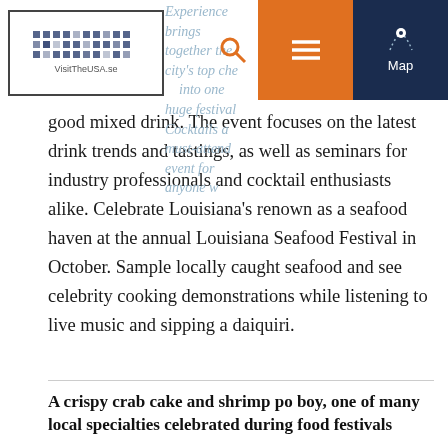VisitTheUSA.se
good mixed drink. The event focuses on the latest drink trends and tastings, as well as seminars for industry professionals and cocktail enthusiasts alike. Celebrate Louisiana's renown as a seafood haven at the annual Louisiana Seafood Festival in October. Sample locally caught seafood and see celebrity cooking demonstrations while listening to live music and sipping a daiquiri.
A crispy crab cake and shrimp po boy, one of many local specialties celebrated during food festivals
[Figure (photo): Close-up photo of a crispy crab cake and shrimp po boy with tomatoes on top, served as local Louisiana specialty food]